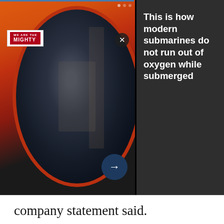[Figure (screenshot): Advertisement banner showing a fisheye-lens photo of soldiers/crew inside a submarine hatch or circular opening, with colorful orange/red surroundings. A dark right panel shows text: 'This is how modern submarines do not run out of oxygen while submerged'. A small 'We Are The Mighty' logo is visible in the upper left area. There is an X close button and a right-arrow navigation button.]
company statement said.
Advanced networking technology with next-generation sights, sensors, targeting systems and digital networking technology — are all key elements of an ongoing upgrade to position the platform to successfully
[Figure (screenshot): A partially visible advertisement banner at the bottom with a light gray patterned background (repeating circular/coin shapes). A small X close button is visible at the right.]